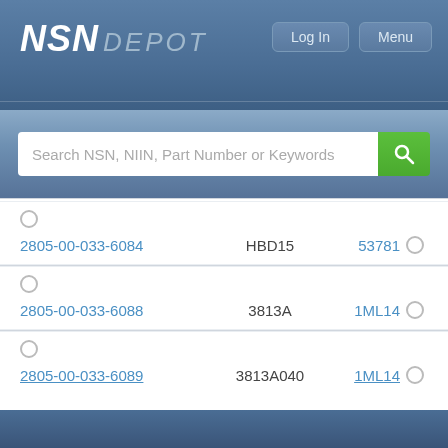NSN DEPOT
Search NSN, NIIN, Part Number or Keywords
| NSN | Part Number | CAGE |
| --- | --- | --- |
| 2805-00-033-6084 | HBD15 | 53781 |
| 2805-00-033-6088 | 3813A | 1ML14 |
| 2805-00-033-6089 | 3813A040 | 1ML14 |